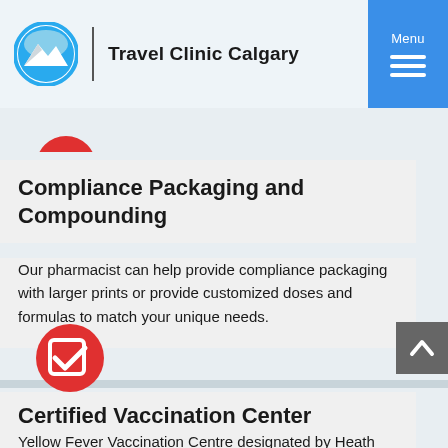Travel Clinic Calgary
[Figure (logo): Travel Clinic Calgary logo with blue circular mountain icon and text]
Compliance Packaging and Compounding
Our pharmacist can help provide compliance packaging with larger prints or provide customized doses and formulas to match your unique needs.
[Figure (illustration): Red circle with white checkmark icon]
Certified Vaccination Center
Yellow Fever Vaccination Centre designated by Heath Canada and Certificates for International Travel